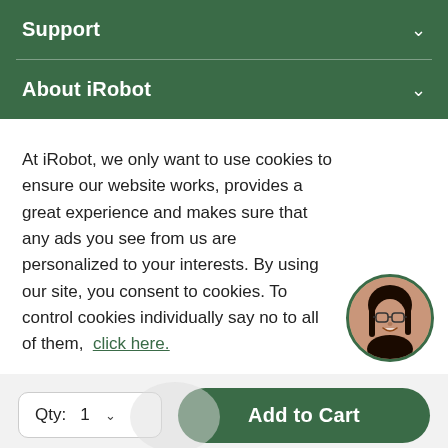Support
About iRobot
At iRobot, we only want to use cookies to ensure our website works, provides a great experience and makes sure that any ads you see from us are personalized to your interests. By using our site, you consent to cookies. To control cookies individually say no to all of them,  click here.
[Figure (photo): Circular avatar photo of a smiling woman with glasses and long dark hair, with a green border.]
Qty:  1 ∨
Add to Cart